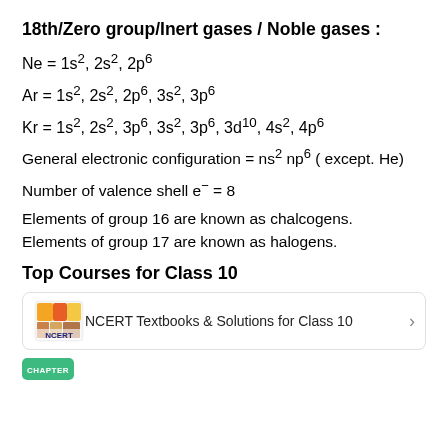18th/Zero group/Inert gases / Noble gases :
General electronic configuration = ns² np⁶ ( except. He)
Number of valence shell e⁻ = 8
Elements of group 16 are known as chalcogens. Elements of group 17 are known as halogens.
Top Courses for Class 10
[Figure (other): NCERT logo icon with orange and yellow colors, label says NCERT]
NCERT Textbooks & Solutions for Class 10
[Figure (other): Chapter icon badge in green]